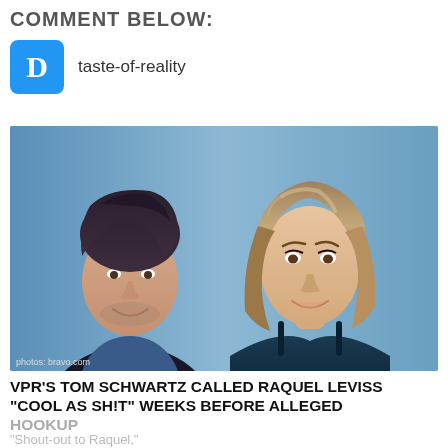COMMENT BELOW:
taste-of-reality
[Figure (photo): Two people side by side: a young man with dark hair in a suit on the left, and a woman with blonde highlighted bob haircut in a teal/dark blue strapless top on the right. Background is a blue-grey gradient. Photo credit: photos: bravo.com]
VPR'S TOM SCHWARTZ CALLED RAQUEL LEVISS "COOL AS SH!T" WEEKS BEFORE ALLEGED HOOKUP
"Shout-out to Raquel,"